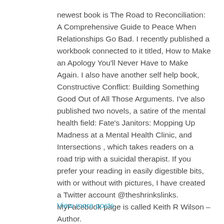newest book is The Road to Reconciliation: A Comprehensive Guide to Peace When Relationships Go Bad. I recently published a workbook connected to it titled, How to Make an Apology You'll Never Have to Make Again. I also have another self help book, Constructive Conflict: Building Something Good Out of All Those Arguments. I've also published two novels, a satire of the mental health field: Fate's Janitors: Mopping Up Madness at a Mental Health Clinic, and Intersections , which takes readers on a road trip with a suicidal therapist. If you prefer your reading in easily digestible bits, with or without with pictures, I have created a Twitter account @theshrinkslinks. MyFacebook page is called Keith R Wilson – Author.
View more posts